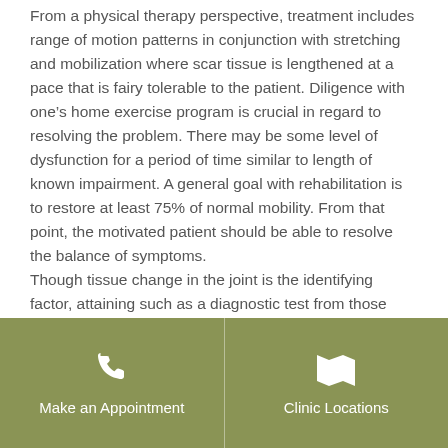From a physical therapy perspective, treatment includes range of motion patterns in conjunction with stretching and mobilization where scar tissue is lengthened at a pace that is fairy tolerable to the patient. Diligence with one’s home exercise program is crucial in regard to resolving the problem. There may be some level of dysfunction for a period of time similar to length of known impairment. A general goal with rehabilitation is to restore at least 75% of normal mobility. From that point, the motivated patient should be able to resolve the balance of symptoms.

Though tissue change in the joint is the identifying factor, attaining such as a diagnostic test from those
[Figure (infographic): Olive/sage green footer bar with two buttons side by side: 'Make an Appointment' with a phone icon on the left, and 'Clinic Locations' with a map icon on the right, separated by a vertical divider.]